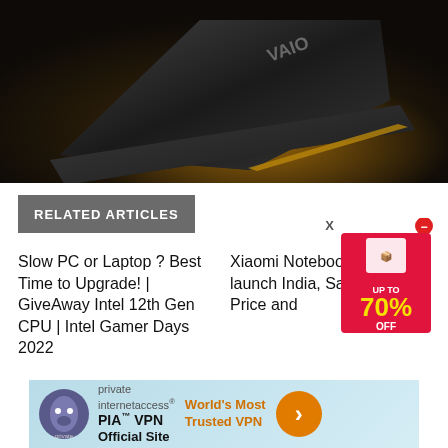[Figure (photo): VAIO laptop product photo on dark background with warm golden light accent]
RELATED ARTICLES
Slow PC or Laptop ? Best Time to Upgrade! | GiveAway Intel 12th Gen CPU | Intel Gamer Days 2022
Xiaomi NotebookPro 120G launch India, Sale fr 20: Price and
[Figure (infographic): Promotional box showing UP TO 70% OFF sale advertisement]
[Figure (infographic): PIA VPN Official Site - World's Most Trusted VPN advertisement banner]